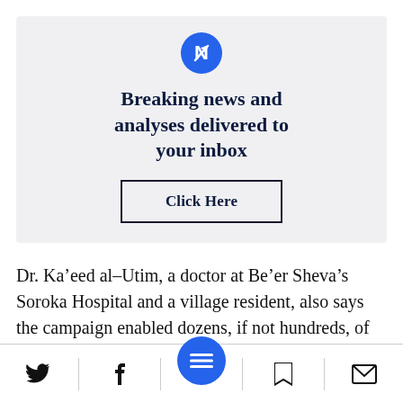[Figure (infographic): Newsletter signup box with circular blue icon (map/navigation symbol), bold heading 'Breaking news and analyses delivered to your inbox', and a 'Click Here' button with border.]
Dr. Ka’eed al–Utim, a doctor at Be’er Sheva’s Soroka Hospital and a village resident, also says the campaign enabled dozens, if not hundreds, of residents “to have the right to
[Figure (infographic): Bottom navigation toolbar with Twitter bird icon, Facebook f icon, large blue circular hamburger menu button in center, bookmark icon, and email/envelope icon, separated by vertical dividers.]